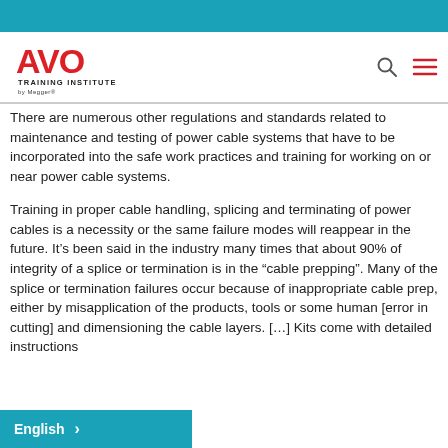[Figure (logo): AVO Training Institute by Megger logo - red AVO text with stylized design]
There are numerous other regulations and standards related to maintenance and testing of power cable systems that have to be incorporated into the safe work practices and training for working on or near power cable systems.
Training in proper cable handling, splicing and terminating of power cables is a necessity or the same failure modes will reappear in the future. It's been said in the industry many times that about 90% of integrity of a splice or termination is in the “cable prepping”. Many of the splice or termination failures occur because of inappropriate cable prep, either by misapplication of the products, tools or some human [error in cutting and dimensioning the cable layers. [Splice/Termination] Kits come with detailed instructions